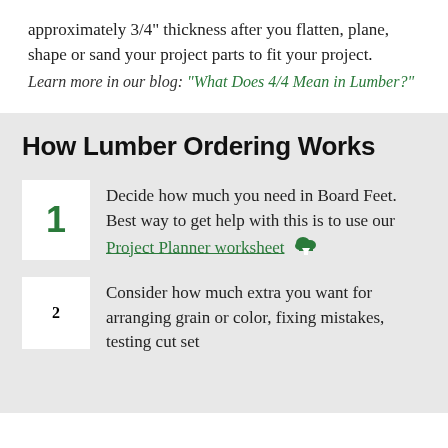approximately 3/4" thickness after you flatten, plane, shape or sand your project parts to fit your project.
Learn more in our blog: "What Does 4/4 Mean in Lumber?"
How Lumber Ordering Works
1. Decide how much you need in Board Feet. Best way to get help with this is to use our Project Planner worksheet
2. Consider how much extra you want for arranging grain or color, fixing mistakes, testing cut set